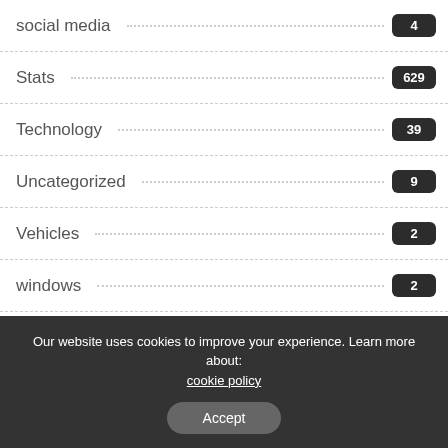social media 4
Stats 629
Technology 39
Uncategorized 9
Vehicles 2
windows 2
You Might Also Enjoy
Our website uses cookies to improve your experience. Learn more about: cookie policy
Accept